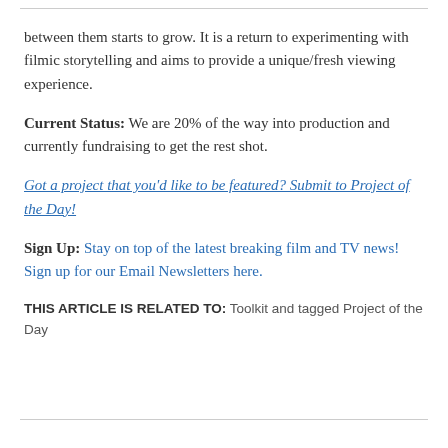between them starts to grow. It is a return to experimenting with filmic storytelling and aims to provide a unique/fresh viewing experience.
Current Status: We are 20% of the way into production and currently fundraising to get the rest shot.
Got a project that you'd like to be featured? Submit to Project of the Day!
Sign Up: Stay on top of the latest breaking film and TV news! Sign up for our Email Newsletters here.
THIS ARTICLE IS RELATED TO: Toolkit and tagged Project of the Day